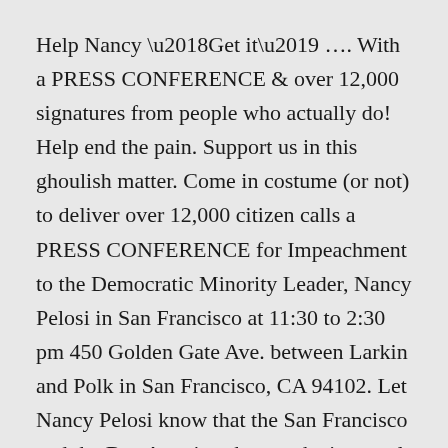Help Nancy ‘Get it’ …. With a PRESS CONFERENCE & over 12,000 signatures from people who actually do! Help end the pain. Support us in this ghoulish matter. Come in costume (or not) to deliver over 12,000 citizen calls a PRESS CONFERENCE for Impeachment to the Democratic Minority Leader, Nancy Pelosi in San Francisco at 11:30 to 2:30 pm 450 Golden Gate Ave. between Larkin and Polk in San Francisco, CA 94102. Let Nancy Pelosi know that the San Francisco and the Bay Area is aghast at the immoral and illegal policies of Bush, Cheney and the gang! We want our